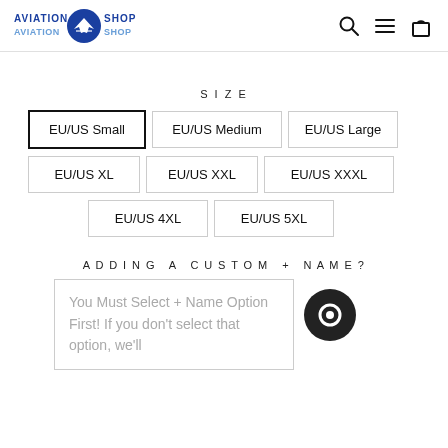[Figure (logo): Aviation Shop logo with blue airplane icon and stylized text]
[Figure (screenshot): Header navigation icons: search, hamburger menu, shopping bag]
SIZE
EU/US Small (selected), EU/US Medium, EU/US Large, EU/US XL, EU/US XXL, EU/US XXXL, EU/US 4XL, EU/US 5XL
ADDING A CUSTOM + NAME?
You Must Select + Name Option First! If you don't select that option, we'll